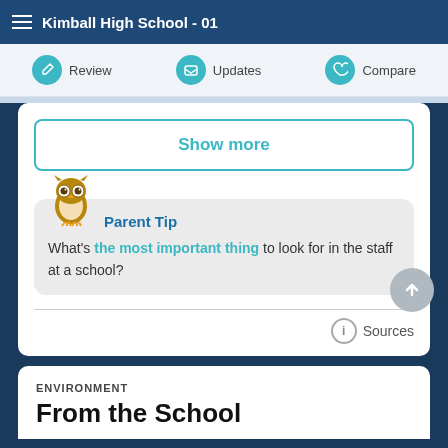Kimball High School - 01
Review
Updates
Compare
Show more
Parent Tip
What's the most important thing to look for in the staff at a school?
Sources
ENVIRONMENT
From the School